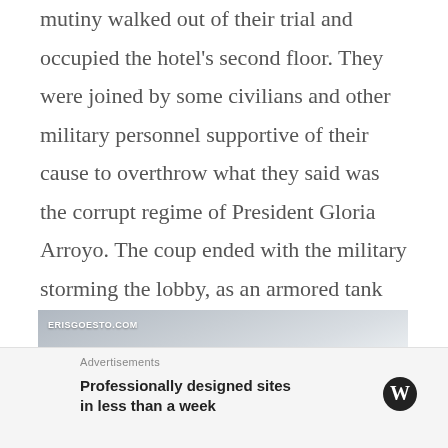mutiny walked out of their trial and occupied the hotel's second floor. They were joined by some civilians and other military personnel supportive of their cause to overthrow what they said was the corrupt regime of President Gloria Arroyo. The coup ended with the military storming the lobby, as an armored tank crashed through its glass doors. Looking at it now, it's hard to imagine such an event took place!
[Figure (photo): Interior photo of a hotel lobby or corridor with grey/blue tones and light reflections. Watermark reading ERISGOESTO.COM in the upper left.]
Advertisements
Professionally designed sites in less than a week